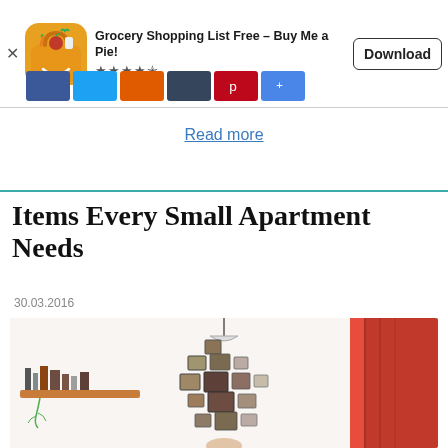[Figure (screenshot): App store ad banner for Grocery Shopping List Free – Buy Me a Pie! with 4.5 star rating and Download button, plus social sharing buttons below (Facebook, Twitter, StumbleUpon, Tumblr, Pinterest, Google+)]
Read more
Items Every Small Apartment Needs
30.03.2016
[Figure (photo): Interior of a small apartment showing a wooden shelf on the left with items, and a gallery wall of framed pictures arranged in a tree/Christmas tree shape on a white wall, with a red curtain on the right side]